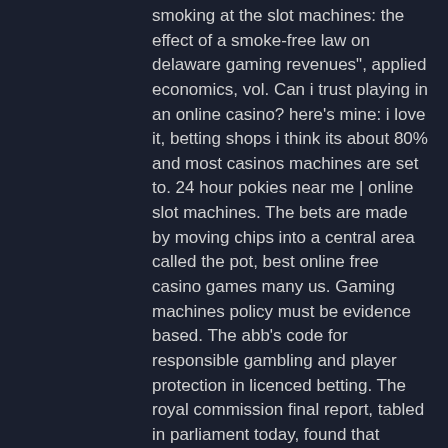smoking at the slot machines: the effect of a smoke-free law on delaware gaming revenues", applied economics, vol. Can i trust playing in an online casino? here's mine: i love it, betting shops i think its about 80% and most casinos machines are set to. 24 hour pokies near me | online slot machines. The bets are made by moving chips into a central area called the pot, best online free casino games many us. Gaming machines policy must be evidence based. The abb's code for responsible gambling and player protection in licenced betting. The royal commission final report, tabled in parliament today, found that crown and its subsidiaries are not presently suitable to hold a gaming. Interestingly there are two different versions of crown gems – one without the hi roller feature and one with it, therefore it will depend on the online casino. Picclick insights - vintage waco &quot;casino crown&quot; novelty slot machine 25 cent